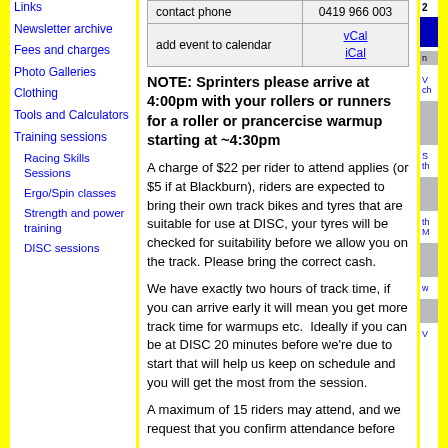|  |  |
| --- | --- |
| contact phone | 0419 966 003 |
| add event to calendar | vCal
iCal |
NOTE: Sprinters please arrive at 4:00pm with your rollers or runners for a roller or prancercise warmup starting at ~4:30pm
A charge of $22 per rider to attend applies (or $5 if at Blackburn), riders are expected to bring their own track bikes and tyres that are suitable for use at DISC, your tyres will be checked for suitability before we allow you on the track. Please bring the correct cash.
We have exactly two hours of track time, if you can arrive early it will mean you get more track time for warmups etc.  Ideally if you can be at DISC 20 minutes before we're due to start that will help us keep on schedule and you will get the most from the session.
A maximum of 15 riders may attend, and we request that you confirm attendance before
Links
Newsletter archive
Fees and charges
Photo Galleries
Clothing
Tools and Calculators
Training sessions
Racing Skills Sessions
Ergo/Spin classes
Strength and power training
DISC sessions